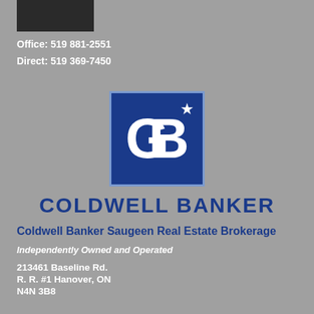[Figure (photo): Small dark photo of a person, top left corner]
Office: 519 881-2551
Direct: 519 369-7450
[Figure (logo): Coldwell Banker logo: dark blue square with CB initials and star, with COLDWELL BANKER text below]
Coldwell Banker Saugeen Real Estate Brokerage
Independently Owned and Operated
213461 Baseline Rd.
R. R. #1 Hanover, ON
N4N 3B8